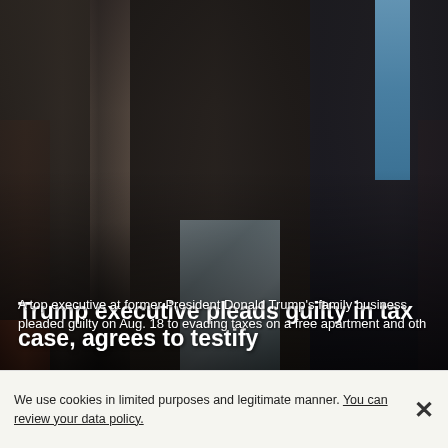[Figure (photo): Photo of people walking in formal attire in what appears to be a courthouse or formal building. A woman in a black jacket carrying a red handbag and a man in a dark suit with a blue tie are prominent. Wood paneling visible in background.]
Trump executive pleads guilty in tax case, agrees to testify
A top executive at former President Donald Trump's family business pleaded guilty on Aug. 18 to evading taxes on a free apartment and oth
We use cookies in limited purposes and legitimate manner. You can review your data policy.